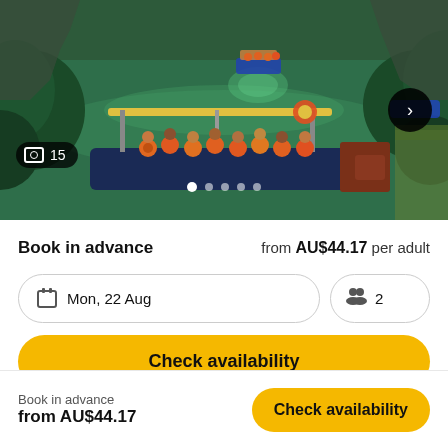[Figure (photo): Aerial view of a river boat tour with passengers in orange life vests on a green river surrounded by lush tropical vegetation. A smaller boat is in the background. Photo carousel with 15 images.]
Book in advance
from AU$44.17 per adult
Mon, 22 Aug
2
Check availability
Book in advance
from AU$44.17
Check availability